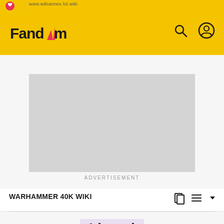Fandom
[Figure (other): Advertisement placeholder (gray rectangle)]
ADVERTISEMENT
WARHAMMER 40K WIKI
Idranel
[Figure (illustration): Digital artwork portrait of Idranel, a character with red hair and Eldar facial markings, against a dark purple background]